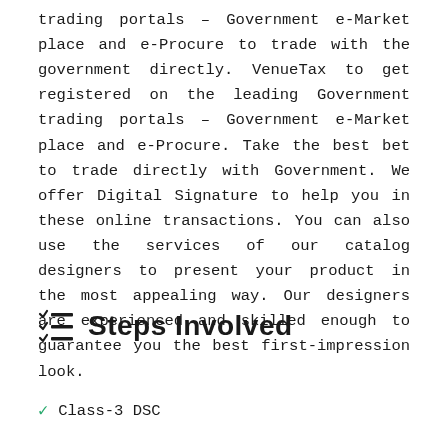trading portals – Government e-Market place and e-Procure to trade with the government directly. VenueTax to get registered on the leading Government trading portals – Government e-Market place and e-Procure. Take the best bet to trade directly with Government. We offer Digital Signature to help you in these online transactions. You can also use the services of our catalog designers to present your product in the most appealing way. Our designers are experienced and skilled enough to guarantee you the best first-impression look.
Steps Involved
Class-3 DSC